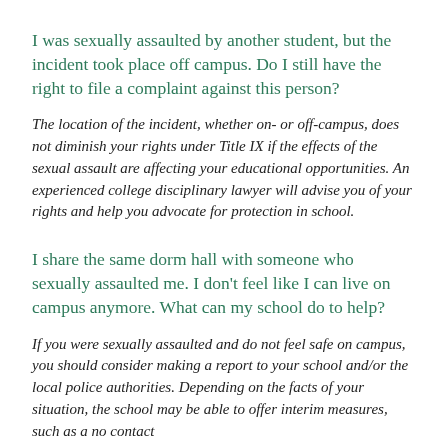I was sexually assaulted by another student, but the incident took place off campus. Do I still have the right to file a complaint against this person?
The location of the incident, whether on- or off-campus, does not diminish your rights under Title IX if the effects of the sexual assault are affecting your educational opportunities. An experienced college disciplinary lawyer will advise you of your rights and help you advocate for protection in school.
I share the same dorm hall with someone who sexually assaulted me. I don't feel like I can live on campus anymore. What can my school do to help?
If you were sexually assaulted and do not feel safe on campus, you should consider making a report to your school and/or the local police authorities. Depending on the facts of your situation, the school may be able to offer interim measures, such as a no contact